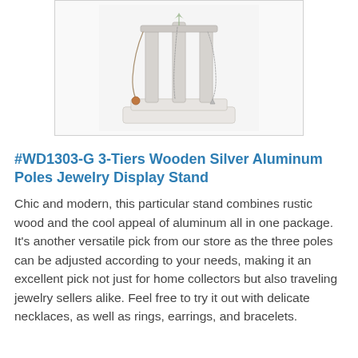[Figure (photo): A whitewashed rustic wooden jewelry display stand with three silver aluminum poles, holding necklaces and charms.]
#WD1303-G 3-Tiers Wooden Silver Aluminum Poles Jewelry Display Stand
Chic and modern, this particular stand combines rustic wood and the cool appeal of aluminum all in one package. It's another versatile pick from our store as the three poles can be adjusted according to your needs, making it an excellent pick not just for home collectors but also traveling jewelry sellers alike. Feel free to try it out with delicate necklaces, as well as rings, earrings, and bracelets.